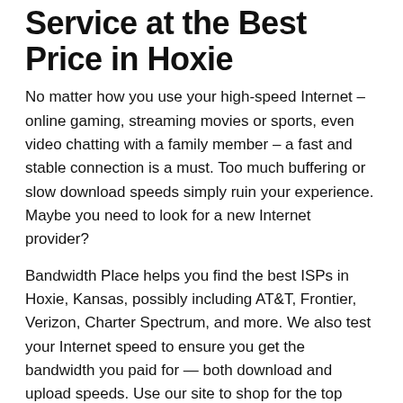Service at the Best Price in Hoxie
No matter how you use your high-speed Internet – online gaming, streaming movies or sports, even video chatting with a family member – a fast and stable connection is a must. Too much buffering or slow download speeds simply ruin your experience. Maybe you need to look for a new Internet provider?
Bandwidth Place helps you find the best ISPs in Hoxie, Kansas, possibly including AT&T, Frontier, Verizon, Charter Spectrum, and more. We also test your Internet speed to ensure you get the bandwidth you paid for — both download and upload speeds. Use our site to shop for the top Internet deals in the area. It's a breeze! Check out the listed Internet providers or give us a call at 800-990-0017 and we'll help.